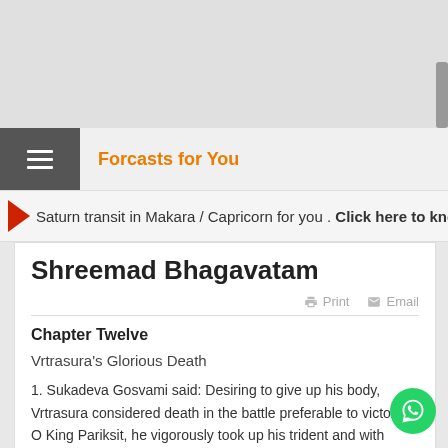Forcasts for You
Saturn transit in Makara / Capricorn for you . Click here to know more
Shreemad Bhagavatam
Chapter Twelve
Vrtrasura's Glorious Death
1. Sukadeva Gosvami said: Desiring to give up his body, Vrtrasura considered death in the battle preferable to victory. O King Pariksit, he vigorously took up his trident and with great force attacked Lord Indra, the King of heaven, just as he had formerly attacked the Supreme Personality